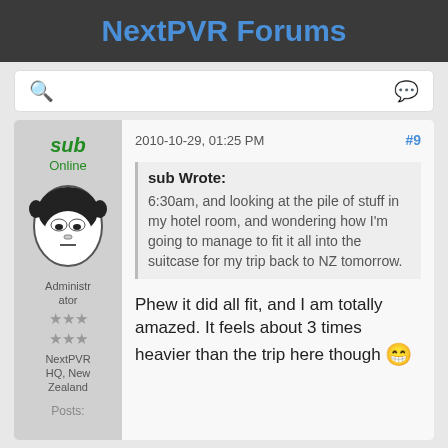NextPVR Forums
[Figure (screenshot): Search bar with magnifying glass icon on the left and chat bubble icon on the right]
sub
Online
Administrator
NextPVR HQ, New Zealand
Posts:
2010-10-29, 01:25 PM   #9
sub Wrote:
6:30am, and looking at the pile of stuff in my hotel room, and wondering how I'm going to manage to fit it all into the suitcase for my trip back to NZ tomorrow.
Phew it did all fit, and I am totally amazed. It feels about 3 times heavier than the trip here though 😁